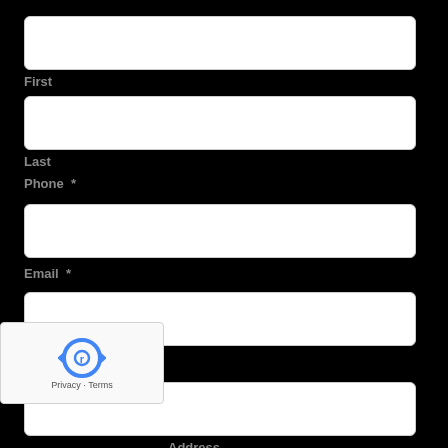First
Last
Phone *
Email *
Address
Address
[Figure (other): reCAPTCHA widget with spinning arrow logo and 'Privacy - Terms' text]